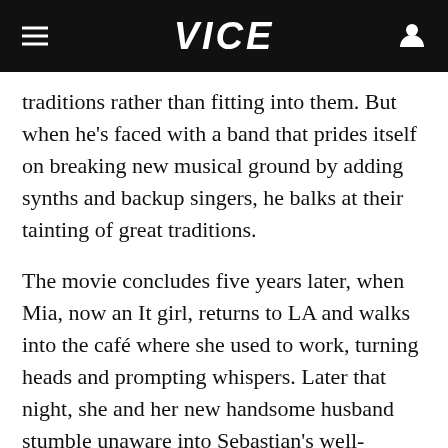VICE
traditions rather than fitting into them. But when he's faced with a band that prides itself on breaking new musical ground by adding synths and backup singers, he balks at their tainting of great traditions.
The movie concludes five years later, when Mia, now an It girl, returns to LA and walks into the café where she used to work, turning heads and prompting whispers. Later that night, she and her new handsome husband stumble unaware into Sebastian's well-attended jazz club, filled with small circular wooden tables and tea